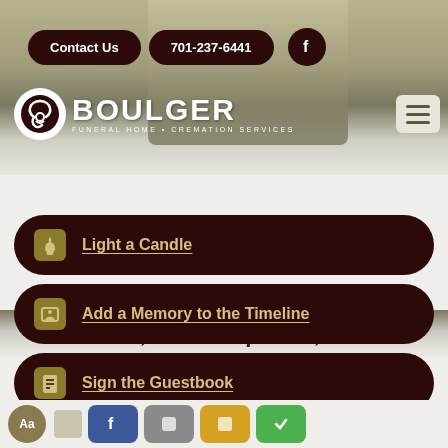[Figure (screenshot): Boulger Funeral Home + Cremation Services website header with portrait photo background, Contact Us button, phone number 701-237-6441, Facebook icon, logo with circular emblem, hamburger menu]
June 1, 1953 – April 30, 2022
Light a Candle
Add a Memory to the Timeline
Sign the Guestbook
Send Flowers